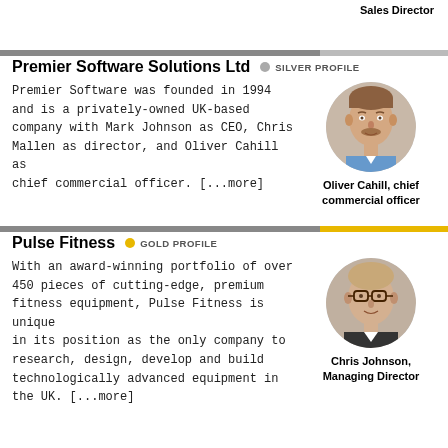Sales Director
Premier Software Solutions Ltd  •  SILVER PROFILE
Premier Software was founded in 1994 and is a privately-owned UK-based company with Mark Johnson as CEO, Chris Mallen as director, and Oliver Cahill as chief commercial officer. [...more]
[Figure (photo): Circular headshot photo of Oliver Cahill]
Oliver Cahill, chief commercial officer
Pulse Fitness  •  GOLD PROFILE
With an award-winning portfolio of over 450 pieces of cutting-edge, premium fitness equipment, Pulse Fitness is unique in its position as the only company to research, design, develop and build technologically advanced equipment in the UK. [...more]
[Figure (photo): Circular headshot photo of Chris Johnson]
Chris Johnson, Managing Director